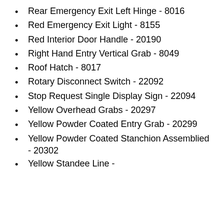Rear Emergency Exit Left Hinge - 8016
Red Emergency Exit Light - 8155
Red Interior Door Handle - 20190
Right Hand Entry Vertical Grab - 8049
Roof Hatch - 8017
Rotary Disconnect Switch - 22092
Stop Request Single Display Sign - 22094
Yellow Overhead Grabs - 20297
Yellow Powder Coated Entry Grab - 20299
Yellow Powder Coated Stanchion Assemblied - 20302
Yellow Standee Line - 8302